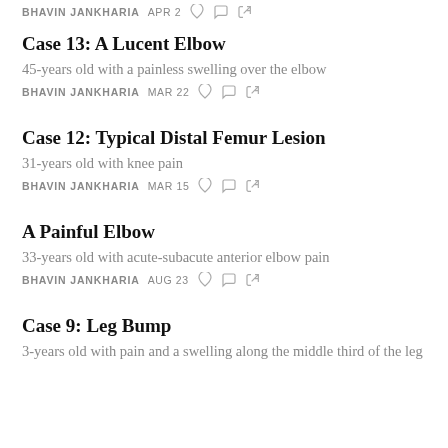BHAVIN JANKHARIA   APR 2
Case 13: A Lucent Elbow
45-years old with a painless swelling over the elbow
BHAVIN JANKHARIA   MAR 22
Case 12: Typical Distal Femur Lesion
31-years old with knee pain
BHAVIN JANKHARIA   MAR 15
A Painful Elbow
33-years old with acute-subacute anterior elbow pain
BHAVIN JANKHARIA   AUG 23
Case 9: Leg Bump
3-years old with pain and a swelling along the middle third of the leg